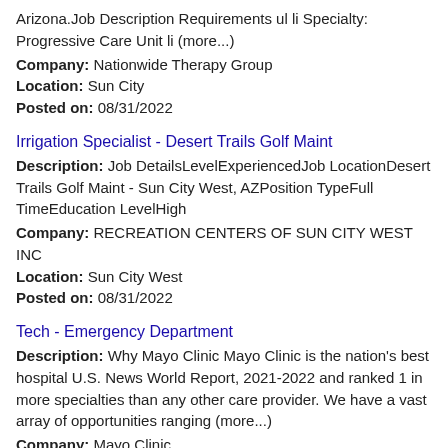Arizona.Job Description Requirements ul li Specialty: Progressive Care Unit li (more...)
Company: Nationwide Therapy Group
Location: Sun City
Posted on: 08/31/2022
Irrigation Specialist - Desert Trails Golf Maint
Description: Job DetailsLevelExperiencedJob LocationDesert Trails Golf Maint - Sun City West, AZPosition TypeFull TimeEducation LevelHigh
Company: RECREATION CENTERS OF SUN CITY WEST INC
Location: Sun City West
Posted on: 08/31/2022
Tech - Emergency Department
Description: Why Mayo Clinic Mayo Clinic is the nation's best hospital U.S. News World Report, 2021-2022 and ranked 1 in more specialties than any other care provider. We have a vast array of opportunities ranging (more...)
Company: Mayo Clinic
Location: Sun City
Posted on: 08/31/2022
Delivery Driver - Healthcare Appointment Driver